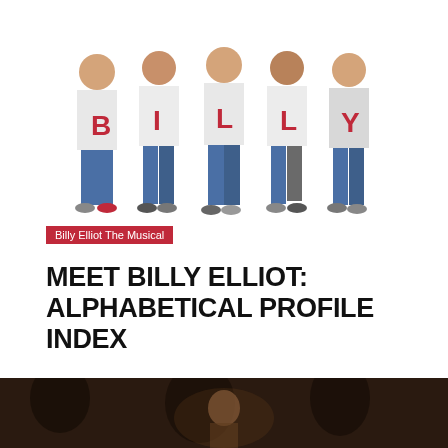[Figure (photo): Five boys wearing white t-shirts spelling out B-I-L-L-Y in red letters, standing in a row against a white background.]
Billy Elliot The Musical
MEET BILLY ELLIOT: ALPHABETICAL PROFILE INDEX
[Figure (photo): Dark theatrical photo with silhouettes and a person visible in dim lighting, bottom of page.]